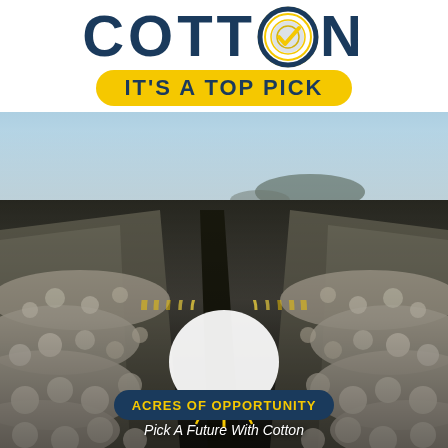COTTON — IT'S A TOP PICK
[Figure (photo): Black and white aerial/ground-level photograph of rows of cotton plants stretching to the horizon with a mountain visible in the background under a clear sky.]
ACRES OF OPPORTUNITY — Pick A Future With Cotton